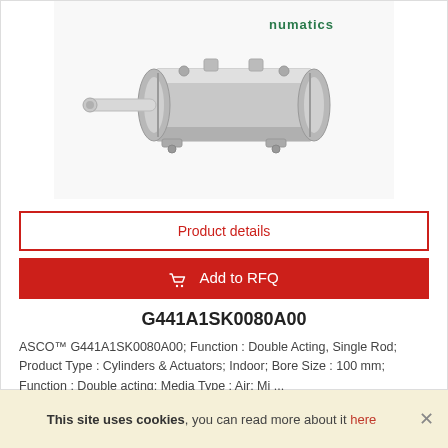[Figure (photo): Photo of a Numatics pneumatic cylinder actuator — a silver/grey metal compact cylinder with a protruding rod on the left side, with the green Numatics logo visible in the top-right of the image.]
Product details
Add to RFQ
G441A1SK0080A00
ASCO™ G441A1SK0080A00; Function : Double Acting, Single Rod; Product Type : Cylinders & Actuators; Indoor; Bore Size : 100 mm; Function : Double acting; Media Type : Air; Mi ...
This site uses cookies, you can read more about it here ×